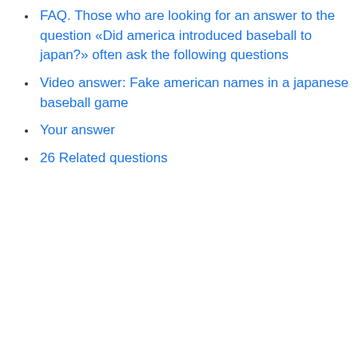FAQ. Those who are looking for an answer to the question «Did america introduced baseball to japan?» often ask the following questions
Video answer: Fake american names in a japanese baseball game
Your answer
26 Related questions